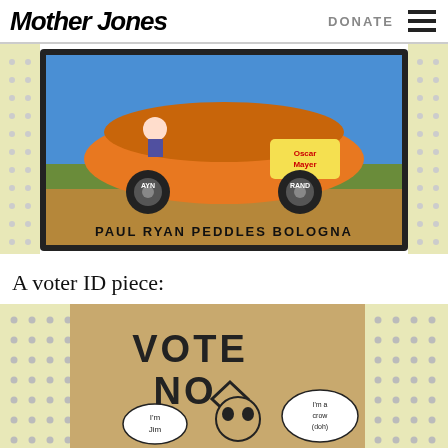Mother Jones | DONATE
[Figure (photo): A painted doormat showing an Oscar Mayer Wienermobile with 'AYN' and 'RAND' on the wheels, text reads 'PAUL RYAN PEDDLES BOLOGNA', displayed in a black frame on a pegboard background]
A voter ID piece:
[Figure (photo): A doormat with text 'VOTE NO' and cartoon speech bubbles saying 'I'm Jim' and 'I'm a crow (doh)' with a cartoon face, displayed on a pegboard background]